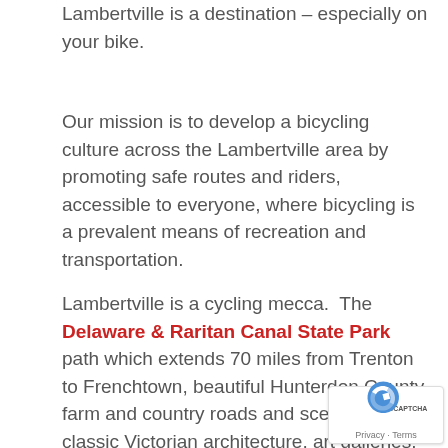Lambertville is a destination – especially on your bike.
Our mission is to develop a bicycling culture across the Lambertville area by promoting safe routes and riders, accessible to everyone, where bicycling is a prevalent means of recreation and transportation.
Lambertville is a cycling mecca. The Delaware & Raritan Canal State Park path which extends 70 miles from Trenton to Frenchtown, beautiful Hunterdon County farm and country roads and scenery, classic Victorian architecture, art galleries, antique shops, coffee houses, restaurants, bike shops and much more, make Lambertville the area's prime cycling hub. It's a great place to ride.
[Figure (other): reCAPTCHA badge with Privacy and Terms links]